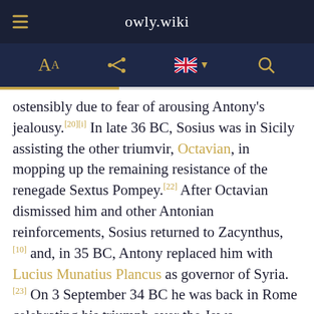owly.wiki
ostensibly due to fear of arousing Antony's jealousy.[20][i] In late 36 BC, Sosius was in Sicily assisting the other triumvir, Octavian, in mopping up the remaining resistance of the renegade Sextus Pompey.[22] After Octavian dismissed him and other Antonian reinforcements, Sosius returned to Zacynthus,[10] and, in 35 BC, Antony replaced him with Lucius Munatius Plancus as governor of Syria.[23] On 3 September 34 BC he was back in Rome celebrating his triumph over the Jews.[24] After this, he seems to have remained in the city, looking after Antony's interests there while awaiting his own consulship in 32 BC, as the